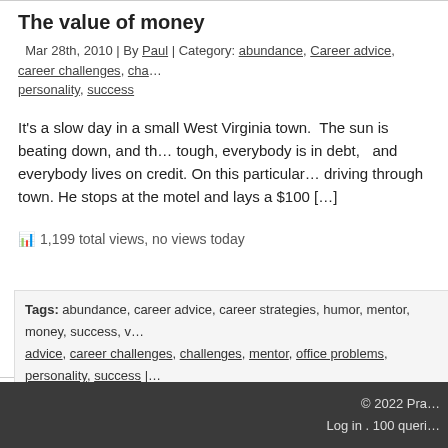The value of money
Mar 28th, 2010 | By Paul | Category: abundance, Career advice, career challenges, cha... personality, success
It's a slow day in a small West Virginia town. The sun is beating down, and th... tough, everybody is in debt, and everybody lives on credit. On this particular... driving through town. He stops at the motel and lays a $100 [...]
1,199 total views, no views today
Tags: abundance, career advice, career strategies, humor, mentor, money, success, v... advice, career challenges, challenges, mentor, office problems, personality, success |
© 2022 Pra... Log in . 100 queri...